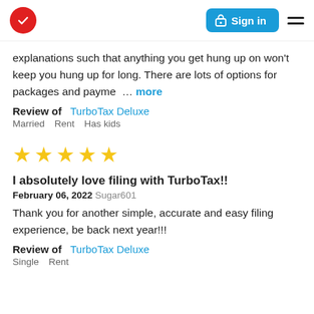TurboTax logo | Sign in | Menu
explanations such that anything you get hung up on won't keep you hung up for long. There are lots of options for packages and payme … more
Review of   TurboTax Deluxe
Married   Rent   Has kids
[Figure (other): Five gold star rating]
I absolutely love filing with TurboTax!!
February 06, 2022 Sugar601
Thank you for another simple, accurate and easy filing experience, be back next year!!!
Review of   TurboTax Deluxe
Single   Rent